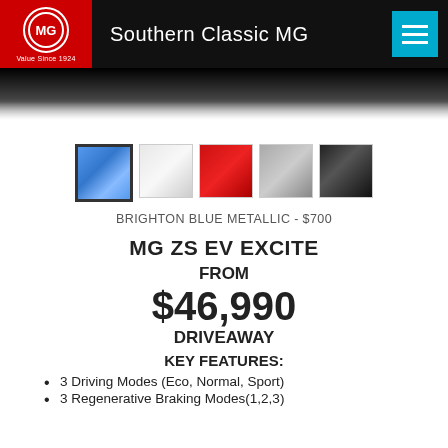Southern Classic MG
[Figure (photo): Top portion of a dark car, partial view against black background]
[Figure (infographic): Five color swatches: Brighton Blue Metallic (selected), White, Red, Silver, Black]
BRIGHTON BLUE METALLIC - $700
MG ZS EV EXCITE
FROM
$46,990
DRIVEAWAY
KEY FEATURES:
3 Driving Modes (Eco, Normal, Sport)
3 Regenerative Braking Modes(1,2,3)